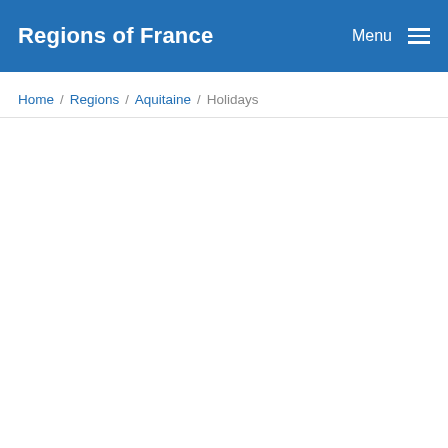Regions of France
Home / Regions / Aquitaine / Holidays